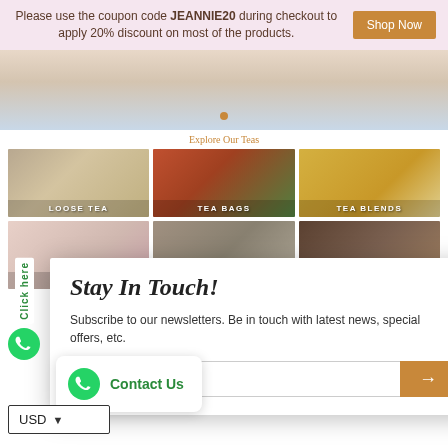Please use the coupon code JEANNIE20 during checkout to apply 20% discount on most of the products.
Shop Now
[Figure (photo): Hero image partial view, tea-related photography with blurred light background]
Explore Our Teas
[Figure (photo): LOOSE TEA - dried herbal loose tea leaves]
[Figure (photo): TEA BAGS - red teacup with tea bags and herbs]
[Figure (photo): TEA BLENDS - chamomile tea in glass]
[Figure (photo): TEAWARE - teapot and cups with floral decoration]
[Figure (photo): GIFTS - gift wrapping with tea gifts]
[Figure (photo): BLOG - laptop/tablet showing blog content]
Stay In Touch!
Subscribe to our newsletters. Be in touch with latest news, special offers, etc.
Enter your email
Contact Us
USD